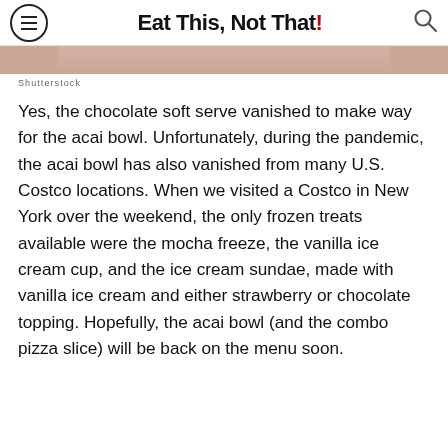Eat This, Not That!
[Figure (photo): Cropped photo strip showing a person, partially visible at top of page]
Shutterstock
Yes, the chocolate soft serve vanished to make way for the acai bowl. Unfortunately, during the pandemic, the acai bowl has also vanished from many U.S. Costco locations. When we visited a Costco in New York over the weekend, the only frozen treats available were the mocha freeze, the vanilla ice cream cup, and the ice cream sundae, made with vanilla ice cream and either strawberry or chocolate topping. Hopefully, the acai bowl (and the combo pizza slice) will be back on the menu soon.